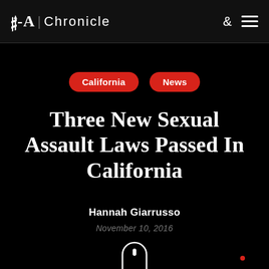M-A | Chronicle
California
News
Three New Sexual Assault Laws Passed In California
Hannah Giarrusso
November 10, 2016